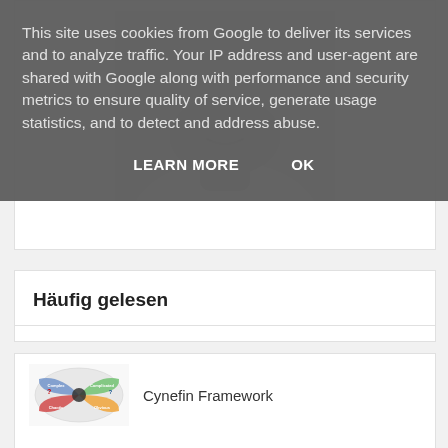This site uses cookies from Google to deliver its services and to analyze traffic. Your IP address and user-agent are shared with Google along with performance and security metrics to ensure quality of service, generate usage statistics, and to detect and address abuse.
LEARN MORE    OK
[Figure (photo): Black and white portrait photo of a man from chin/neck down, wearing a white t-shirt, with a light background]
Häufig gelesen
[Figure (illustration): Colorful Cynefin Framework diagram thumbnail]
Cynefin Framework